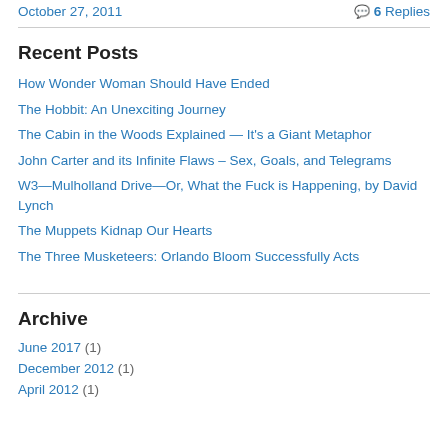October 27, 2011   6 Replies
Recent Posts
How Wonder Woman Should Have Ended
The Hobbit: An Unexciting Journey
The Cabin in the Woods Explained — It's a Giant Metaphor
John Carter and its Infinite Flaws – Sex, Goals, and Telegrams
W3—Mulholland Drive—Or, What the Fuck is Happening, by David Lynch
The Muppets Kidnap Our Hearts
The Three Musketeers: Orlando Bloom Successfully Acts
Archive
June 2017 (1)
December 2012 (1)
April 2012 (1)